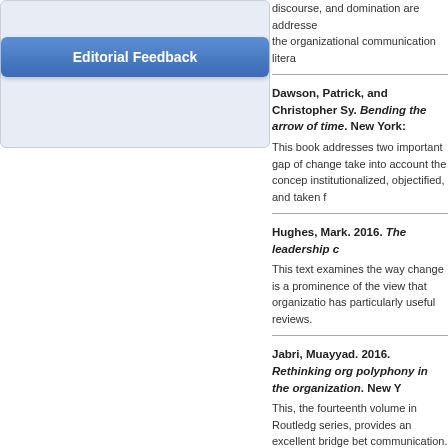[Figure (other): Editorial Feedback button inside a light blue rounded panel]
discourse, and domination are addressed the organizational communication litera
Dawson, Patrick, and Christopher Sy... Bending the arrow of time. New York: This book addresses two important gap of change take into account the concep institutionalized, objectified, and taken f
Hughes, Mark. 2016. The leadership c This text examines the way change is a prominence of the view that organizatio has particularly useful reviews.
Jabri, Muayyad. 2016. Rethinking org polyphony in the organization. New Y This, the fourteenth volume in Routledg series, provides an excellent bridge bet communication. It contributes a relation its rendition of Mikhail Bakhtin's notion